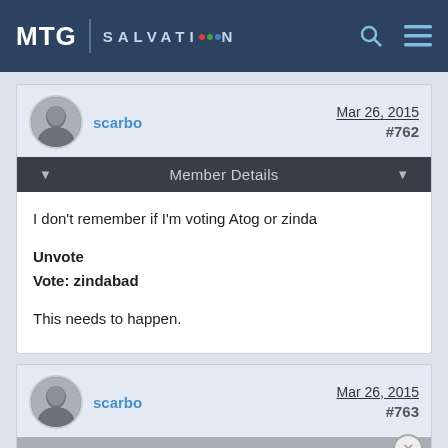MTG SALVATION
scarbo  Mar 26, 2015  #762
Member Details
I don't remember if I'm voting Atog or zinda

Unvote
Vote: zindabad

This needs to happen.
scarbo  Mar 26, 2015  #763
Member Details